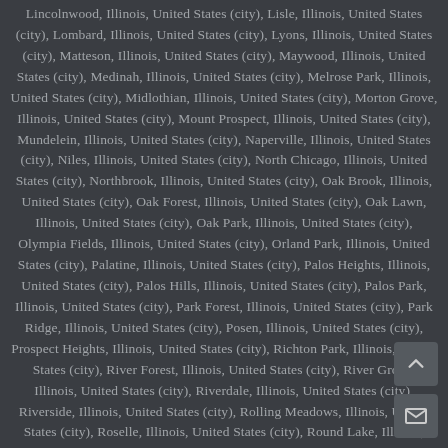Lincolnwood, Illinois, United States (city), Lisle, Illinois, United States (city), Lombard, Illinois, United States (city), Lyons, Illinois, United States (city), Matteson, Illinois, United States (city), Maywood, Illinois, United States (city), Medinah, Illinois, United States (city), Melrose Park, Illinois, United States (city), Midlothian, Illinois, United States (city), Morton Grove, Illinois, United States (city), Mount Prospect, Illinois, United States (city), Mundelein, Illinois, United States (city), Naperville, Illinois, United States (city), Niles, Illinois, United States (city), North Chicago, Illinois, United States (city), Northbrook, Illinois, United States (city), Oak Brook, Illinois, United States (city), Oak Forest, Illinois, United States (city), Oak Lawn, Illinois, United States (city), Oak Park, Illinois, United States (city), Olympia Fields, Illinois, United States (city), Orland Park, Illinois, United States (city), Palatine, Illinois, United States (city), Palos Heights, Illinois, United States (city), Palos Hills, Illinois, United States (city), Palos Park, Illinois, United States (city), Park Forest, Illinois, United States (city), Park Ridge, Illinois, United States (city), Posen, Illinois, United States (city), Prospect Heights, Illinois, United States (city), Richton Park, Illinois, United States (city), River Forest, Illinois, United States (city), River Grove, Illinois, United States (city), Riverdale, Illinois, United States (city), Riverside, Illinois, United States (city), Rolling Meadows, Illinois, United States (city), Roselle, Illinois, United States (city), Round Lake, Illinois, United States (city), Schaumburg, Illinois, United States (city), Schiller Park, Illinois, United States (city), Skokie, Illinois, United States (city), South Holland, Illinois, United States (city), Steger, Illinois, United States (city), Stone Park, Illinois, United States (city), Streamwood,